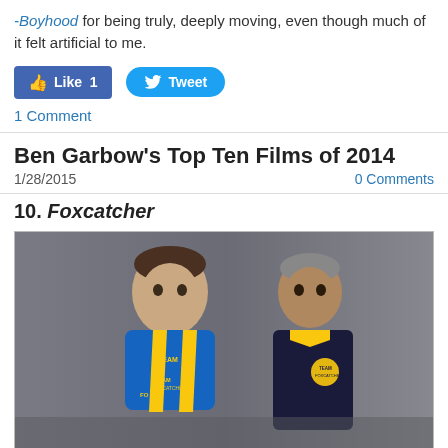-Boyhood for being truly, deeply moving, even though much of it felt artificial to me.
[Figure (other): Facebook Like button (count: 1) and Twitter Tweet button]
1 Comment
Ben Garbow's Top Ten Films of 2014
1/28/2015    0 Comments
10. Foxcatcher
[Figure (photo): A still from the film Foxcatcher showing two men in wrestling attire facing each other intensely in a gym setting. One man wears a blue t-shirt and yellow wrestling singlet with 'FOXCATCHER' text, the other wears a dark blue and yellow jacket.]